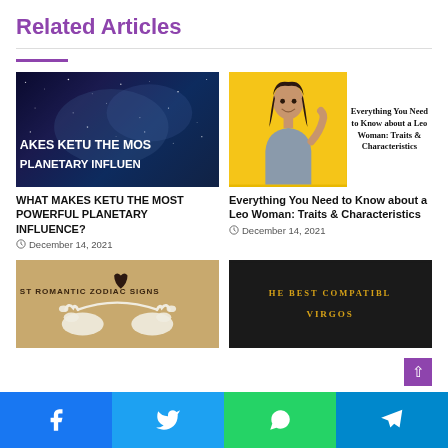Related Articles
[Figure (photo): Space/stars background with text overlay: MAKES KETU THE MOST PLANETARY INFLUENCE]
[Figure (photo): Woman smiling on yellow background with text: Everything You Need to Know about a Leo Woman: Traits & Characteristics]
WHAT MAKES KETU THE MOST POWERFUL PLANETARY INFLUENCE?
December 14, 2021
Everything You Need to Know about a Leo Woman: Traits & Characteristics
December 14, 2021
[Figure (illustration): Brown background with two white swans and text: ST ROMANTIC ZODIAC SIGNS]
[Figure (photo): Black background with yellow text: HE BEST COMPATIBLE VIRGOS]